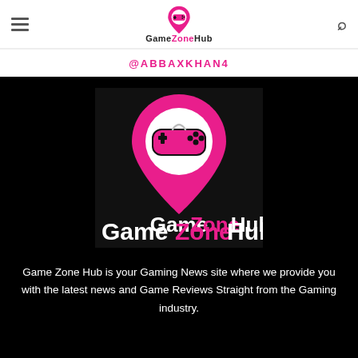GameZoneHub navigation bar with hamburger menu, logo, and search icon
@ABBAXKHAN4
[Figure (logo): GameZoneHub logo: pink location-pin shape with white circle containing a pink game controller, and text 'Game Zone Hub' below on black background]
Game Zone Hub is your Gaming News site where we provide you with the latest news and Game Reviews Straight from the Gaming industry.